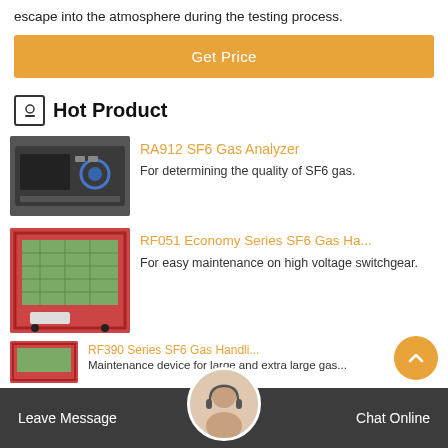escape into the atmosphere during the testing process.
[Figure (other): Orange 'Get Price' button]
Hot Product
[Figure (photo): RA912 SF6 Gas Analyzer device photo — black rack-mounted analyzer unit]
RA912 SF6 Gas Analyzer
For determining the quality of SF6 gas.
[Figure (photo): RF051 Economy Series SF6 Gas Handling device photo — red cabinet unit on wheels]
RF051 Economy Series SF6 Gas Ha...
For easy maintenance on high voltage switchgear.
[Figure (photo): RF390 Series SF6 Gas Handling device — partially visible at bottom]
RF390 Series SF6 Gas Handli...
Maintenance device for large and extra large gas...
Leave Message   Chat Online